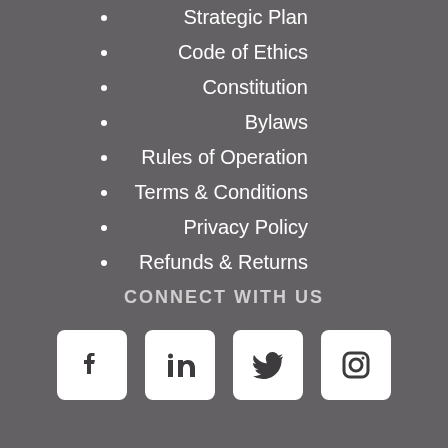Strategic Plan
Code of Ethics
Constitution
Bylaws
Rules of Operation
Terms & Conditions
Privacy Policy
Refunds & Returns
CONNECT WITH US
[Figure (infographic): Social media icons: Facebook, LinkedIn, Twitter, Instagram]